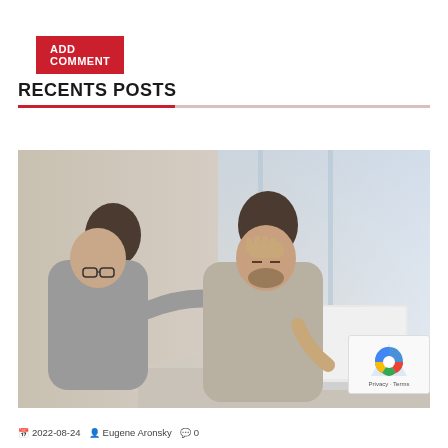ADD COMMENT
RECENTS POSTS
[Figure (photo): Two business professionals at a table with a laptop; a woman in a grey blazer places her hand on a stressed man's shoulder as he rubs his forehead with his hand.]
2022-08-24  Eugene Aronsky  0